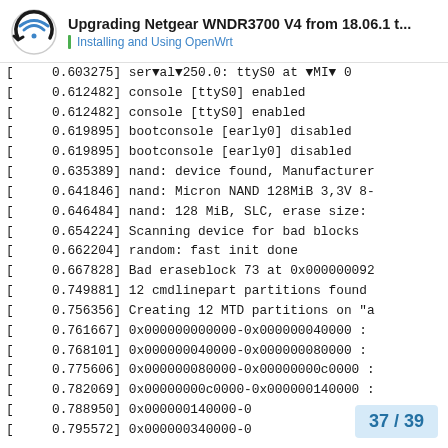Upgrading Netgear WNDR3700 V4 from 18.06.1 t... | Installing and Using OpenWrt
[    0.603275] serial0250.0: ttyS0 at  MI  0
[    0.612482] console [ttyS0] enabled
[    0.612482] console [ttyS0] enabled
[    0.619895] bootconsole [early0] disabled
[    0.619895] bootconsole [early0] disabled
[    0.635389] nand: device found, Manufacturer
[    0.641846] nand: Micron NAND 128MiB 3,3V 8-
[    0.646484] nand: 128 MiB, SLC, erase size:
[    0.654224] Scanning device for bad blocks
[    0.662204] random: fast init done
[    0.667828] Bad eraseblock 73 at 0x000000092
[    0.749881] 12 cmdlinepart partitions found
[    0.756356] Creating 12 MTD partitions on "a
[    0.761667] 0x000000000000-0x000000040000 :
[    0.768101] 0x000000040000-0x000000080000 :
[    0.775606] 0x000000080000-0x00000000c0000 :
[    0.782069] 0x00000000c0000-0x000000140000 :
[    0.788950] 0x000000140000-0
[    0.795572] 0x000000340000-0